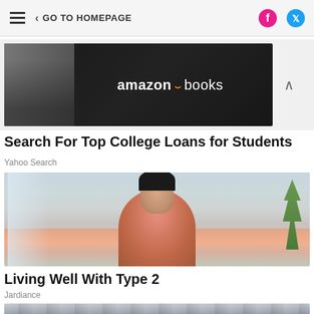GO TO HOMEPAGE
[Figure (photo): Amazon Books advertisement banner with a bald man and Amazon Books logo on dark background]
Search For Top College Loans for Students
Yahoo Search
[Figure (photo): Woman in pink/salmon top sitting in a bright room, smiling — used in Jardiance Living Well With Type 2 advertisement]
Living Well With Type 2
Jardiance
[Figure (photo): Partial bottom image — appears to show a textured surface]